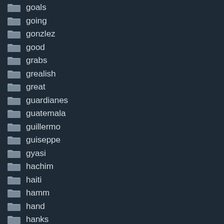goals
going
gonzlez
good
grabs
grealish
great
guardianes
guatemala
guillermo
guiseppe
gyasi
hachim
haiti
hamm
hand
hanks
happening
harold